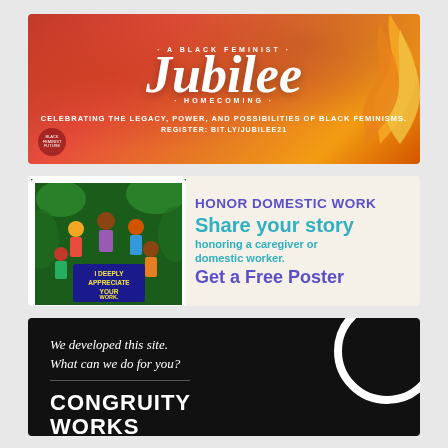[Figure (illustration): Jubilee: A Black Feminist Homecoming banner. Orange and red gradient background with flame illustration on right. White script text reads 'Jubilee' in center, with arc text 'A Black Feminist' above and 'Homecoming' below. Subtitle: 'Celebrating the legacy, power, and possibilities of Black feminisms. Register: bit.ly/jubilee21']
[Figure (illustration): Honor Domestic Work banner. Left side shows framed artwork with text 'I Deeply Appreciate Your Work' with colorful figures. Right side on cream background: 'HONOR DOMESTIC WORK' in purple, 'Share your story' in teal, 'honoring a caregiver or domestic worker.' in teal, 'Get a Free Poster' in purple.]
[Figure (illustration): Congruity Works advertisement. Black background with partial white circle top right. White italic text: 'We developed this site. What can we do for you?' Horizontal divider. Large bold white uppercase text: 'CONGRUITY WORKS']